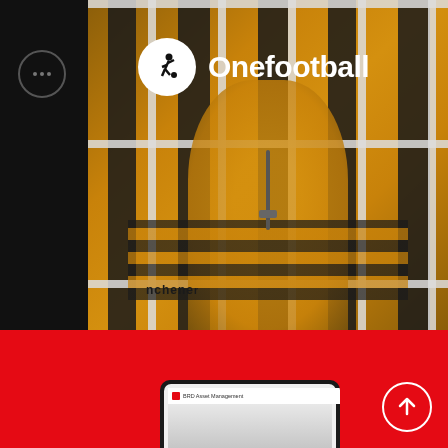[Figure (photo): Onefootball app brand page showing a football fan wearing a yellow and black striped scarf behind stadium bars, with Onefootball logo overlay and a red section below with phone mockup]
Onefootball